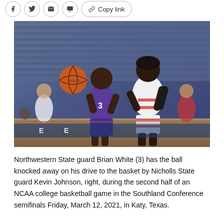Social share toolbar with Facebook, Twitter, email, copy icons and Copy link button
[Figure (photo): Basketball game action photo showing Northwestern State guard Brian White (3) in purple uniform having the ball knocked away by Nicholls State guard Kevin Johnson in white/red uniform, during an NCAA college basketball game at the Southland Conference semifinals.]
Northwestern State guard Brian White (3) has the ball knocked away on his drive to the basket by Nicholls State guard Kevin Johnson, right, during the second half of an NCAA college basketball game in the Southland Conference semifinals Friday, March 12, 2021, in Katy, Texas.